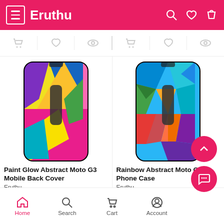Eruthu
[Figure (screenshot): Action bar with cart, heart, and eye icons for two product columns]
[Figure (photo): Paint Glow Abstract Moto G3 Mobile Back Cover - colorful abstract phone case with purple, yellow, pink colors]
Paint Glow Abstract Moto G3 Mobile Back Cover
Eruthu
₹ 399.00 ₹599.00
[Figure (photo): Rainbow Abstract Moto G3 Phone Case - colorful geometric polygon phone case with blue, green, orange, red, purple colors]
Rainbow Abstract Moto G3 Phone Case
Eruthu
₹ 399.00 ₹599.00
Home  Search  Cart  Account  Menu